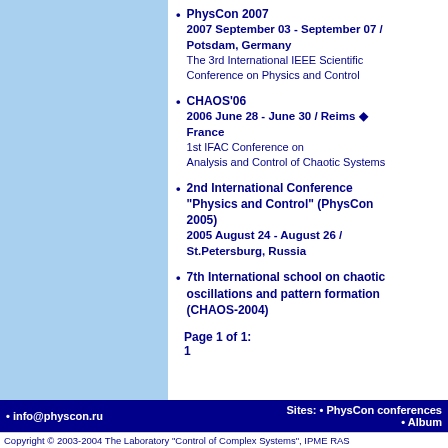PhysCon 2007
2007 September 03 - September 07 / Potsdam, Germany
The 3rd International IEEE Scientific Conference on Physics and Control
CHAOS'06
2006 June 28 - June 30 / Reims ◆ France
1st IFAC Conference on Analysis and Control of Chaotic Systems
2nd International Conference "Physics and Control" (PhysCon 2005)
2005 August 24 - August 26 / St.Petersburg, Russia
7th International school on chaotic oscillations and pattern formation (CHAOS-2004)
Page 1 of 1:
1
• info@physcon.ru    Sites: • PhysCon conferences • Album
Copyright © 2003-2004 The Laboratory "Control of Complex Systems", IPME RAS